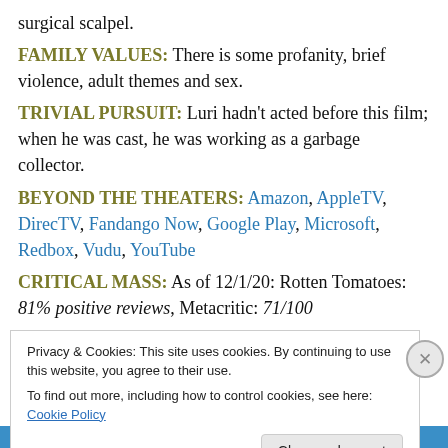surgical scalpel.
FAMILY VALUES: There is some profanity, brief violence, adult themes and sex.
TRIVIAL PURSUIT: Luri hadn't acted before this film; when he was cast, he was working as a garbage collector.
BEYOND THE THEATERS: Amazon, AppleTV, DirecTV, Fandango Now, Google Play, Microsoft, Redbox, Vudu, YouTube
CRITICAL MASS: As of 12/1/20: Rotten Tomatoes: 81% positive reviews, Metacritic: 71/100
COMPARISON SHOPPING: [partially visible]
Privacy & Cookies: This site uses cookies. By continuing to use this website, you agree to their use. To find out more, including how to control cookies, see here: Cookie Policy
Close and accept